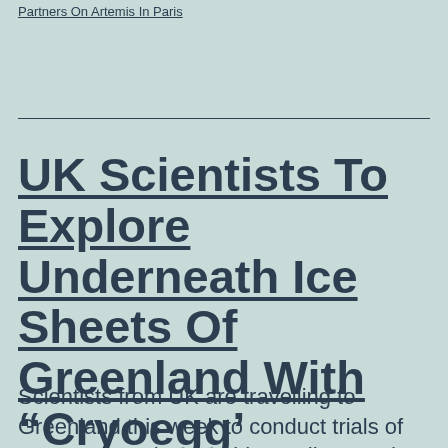Partners On Artemis In Paris
UK Scientists To Explore Underneath Ice Sheets Of Greenland With “Cryoegg’
Scientists from UK are travelling to Greenland this week to conduct trials of new sensors that provide readings under thick ice sheets up to